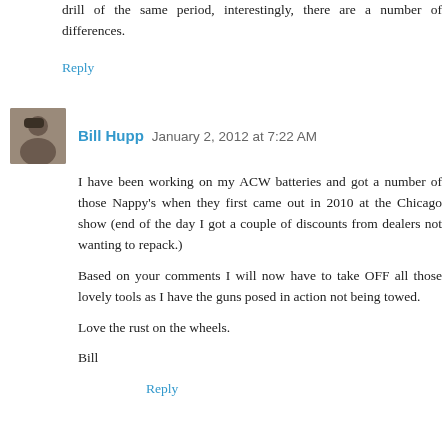drill of the same period, interestingly, there are a number of differences.
Reply
Bill Hupp  January 2, 2012 at 7:22 AM
I have been working on my ACW batteries and got a number of those Nappy's when they first came out in 2010 at the Chicago show (end of the day I got a couple of discounts from dealers not wanting to repack.)
Based on your comments I will now have to take OFF all those lovely tools as I have the guns posed in action not being towed.
Love the rust on the wheels.
Bill
Reply